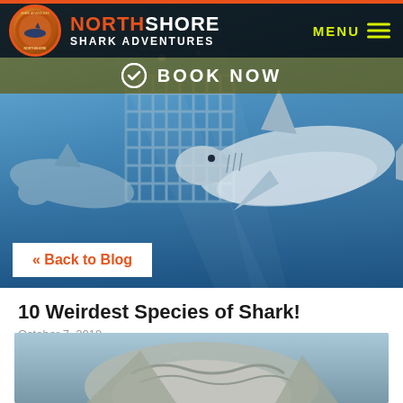NORTHSHORE SHARK ADVENTURES
BOOK NOW
[Figure (photo): Underwater photo of sharks swimming near a dive cage, viewed from below with blue water background]
« Back to Blog
10 Weirdest Species of Shark!
October 7, 2019
[Figure (photo): Close-up photo of a shark from below/front angle in blue water]